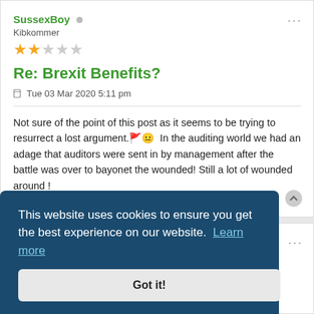SussexBoy • Kibkommer ★★☆☆☆
Re: Brexit Benefits?
Tue 03 Mar 2020 5:11 pm
Not sure of the point of this post as it seems to be trying to resurrect a lost argument. 😐 In the auditing world we had an adage that auditors were sent in by management after the battle was over to bayonet the wounded! Still a lot of wounded around ! 😃
This website uses cookies to ensure you get the best experience on our website. Learn more
Got it!